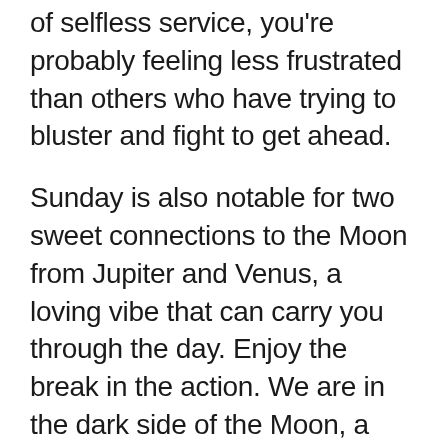of selfless service, you're probably feeling less frustrated than others who have trying to bluster and fight to get ahead.
Sunday is also notable for two sweet connections to the Moon from Jupiter and Venus, a loving vibe that can carry you through the day. Enjoy the break in the action. We are in the dark side of the Moon, a time to wrap up whatever amazing insight you got from the “wake-up call” that began this lunar cycle. Moon goes void at 12:13AM ET on Monday...and enters Scorpio at 6:10AM ET. Tuesday marks the New Moon at 5:08PM ET — and it’s a doozy of a solar eclipse.
I am observing the indulgent Venus-Jupiter trine